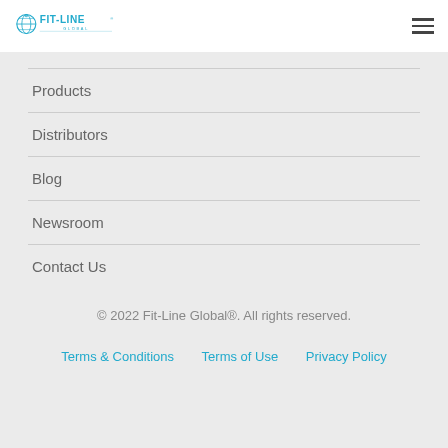FIT-LINE GLOBAL
Products
Distributors
Blog
Newsroom
Contact Us
© 2022 Fit-Line Global®. All rights reserved.
Terms & Conditions    Terms of Use    Privacy Policy